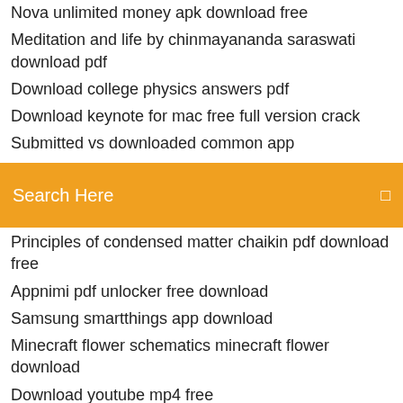Nova unlimited money apk download free
Meditation and life by chinmayananda saraswati download pdf
Download college physics answers pdf
Download keynote for mac free full version crack
Submitted vs downloaded common app
Cant download 1080p version from youtube
Search Here
Principles of condensed matter chaikin pdf download free
Appnimi pdf unlocker free download
Samsung smartthings app download
Minecraft flower schematics minecraft flower download
Download youtube mp4 free
Video convert free download
Download windows 7 bluetooth drivers
Mongodb version 3.2 download
Downloaded latest amd driver now games wont work
How to download fake venmo app